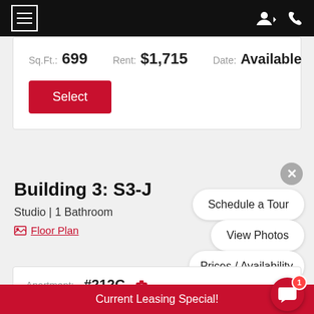Navigation bar with hamburger menu and user/phone icons
Sq.Ft.: 699   Rent: $1,715   Date: Available
Select
Building 3: S3-J
Studio | 1 Bathroom
Floor Plan
Schedule a Tour
View Photos
Prices / Availability
Apartment: #212C
Current Leasing Special!